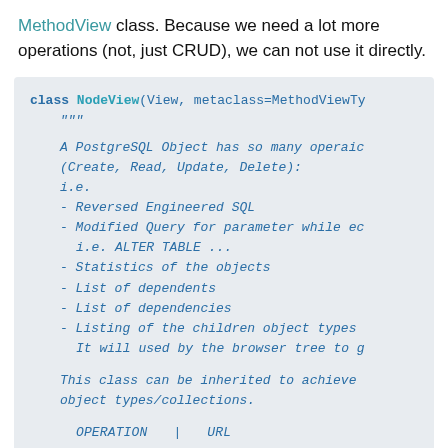MethodView class. Because we need a lot more operations (not, just CRUD), we can not use it directly.
[Figure (screenshot): Code block showing NodeView class definition with docstring listing PostgreSQL object operations including Reversed Engineered SQL, Modified Query for parameter while editing (ALTER TABLE ...), Statistics of the objects, List of dependents, List of dependencies, Listing of the children object types (used by browser tree), and a note about class inheritance. Ends with OPERATION | URL table header.]